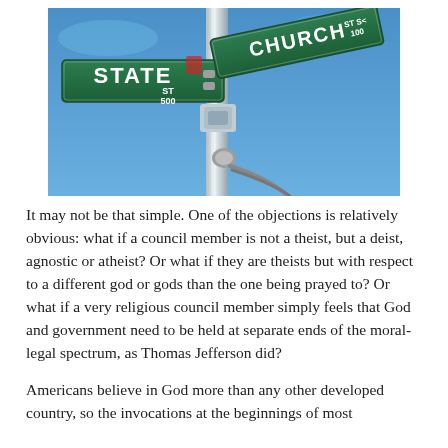[Figure (photo): Photograph of street signs at a pole intersection showing 'STATE ST 500' and 'CHURCH ST 100' green street signs against a blue sky.]
It may not be that simple. One of the objections is relatively obvious: what if a council member is not a theist, but a deist, agnostic or atheist? Or what if they are theists but with respect to a different god or gods than the one being prayed to? Or what if a very religious council member simply feels that God and government need to be held at separate ends of the moral-legal spectrum, as Thomas Jefferson did?
Americans believe in God more than any other developed country, so the invocations at the beginnings of most